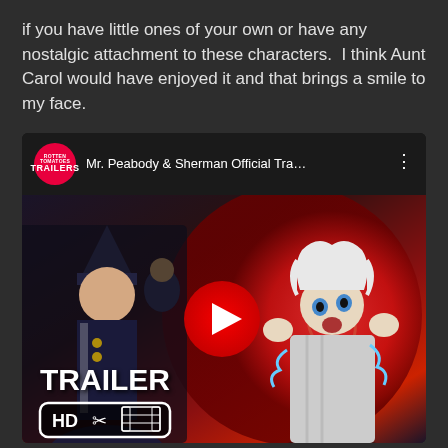if you have little ones of your own or have any nostalgic attachment to these characters.  I think Aunt Carol would have enjoyed it and that brings a smile to my face.
[Figure (screenshot): YouTube video embed thumbnail for 'Mr. Peabody & Sherman Official Tra...' showing animated characters from the movie, with a YouTube play button overlay, TRAILER text, HD badge, and Trailers channel logo.]